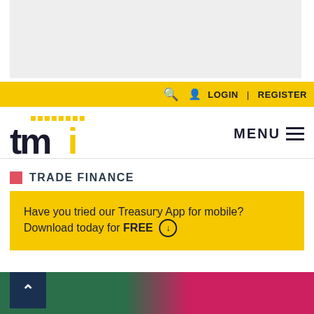[Figure (other): Gray advertisement banner placeholder area at the top of the page]
🔍  LOGIN | REGISTER
[Figure (logo): TMI (Treasury Management International) logo with yellow dot grid and yellow 'i' letter, alongside MENU hamburger icon]
TRADE FINANCE
Have you tried our Treasury App for mobile? Download today for FREE ⬇
[Figure (photo): Colorful ribbons or streamers in green and pink/magenta at bottom of page, with a dark blue scroll-up button showing a chevron arrow]